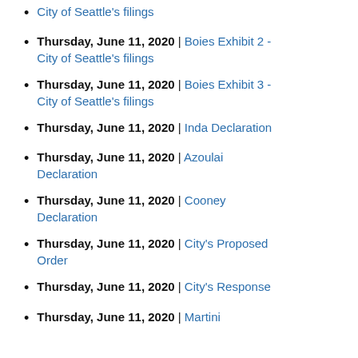City of Seattle's filings
Thursday, June 11, 2020 | Boies Exhibit 2 - City of Seattle's filings
Thursday, June 11, 2020 | Boies Exhibit 3 - City of Seattle's filings
Thursday, June 11, 2020 | Inda Declaration
Thursday, June 11, 2020 | Azoulai Declaration
Thursday, June 11, 2020 | Cooney Declaration
Thursday, June 11, 2020 | City's Proposed Order
Thursday, June 11, 2020 | City's Response
Thursday, June 11, 2020 | Martini